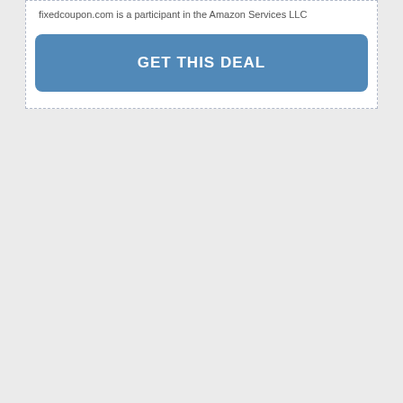fixedcoupon.com is a participant in the Amazon Services LLC
GET THIS DEAL